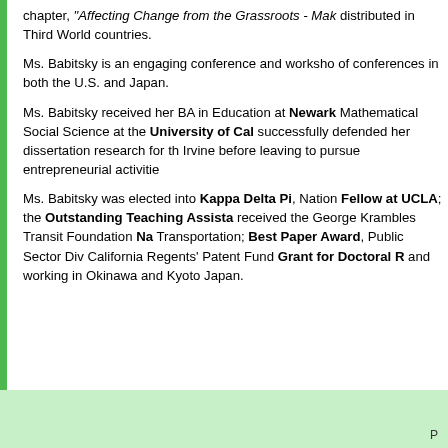chapter, "Affecting Change from the Grassroots - Mak... distributed in Third World countries.
Ms. Babitsky is an engaging conference and workshop... of conferences in both the U.S. and Japan.
Ms. Babitsky received her BA in Education at Newark... Mathematical Social Science at the University of Cal... successfully defended her dissertation research for th... Irvine before leaving to pursue entrepreneurial activitie...
Ms. Babitsky was elected into Kappa Delta Pi, Nation... Fellow at UCLA; the Outstanding Teaching Assista... received the George Krambles Transit Foundation Na... Transportation; Best Paper Award, Public Sector Div... California Regents' Patent Fund Grant for Doctoral R... and working in Okinawa and Kyoto Japan.
P